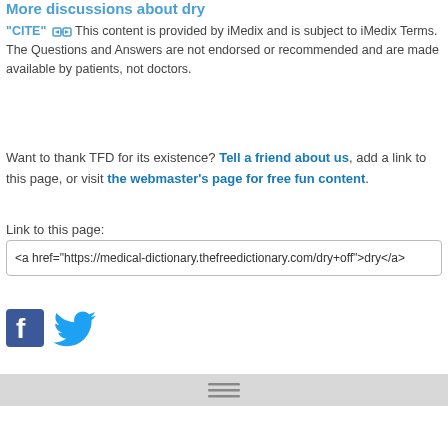More discussions about dry
"CITE" [link icon] This content is provided by iMedix and is subject to iMedix Terms. The Questions and Answers are not endorsed or recommended and are made available by patients, not doctors.
Want to thank TFD for its existence? Tell a friend about us, add a link to this page, or visit the webmaster's page for free fun content.
Link to this page:
<a href="https://medical-dictionary.thefreedictionary.com/dry+off">dry</a>
[Figure (logo): Facebook and Twitter social media icons]